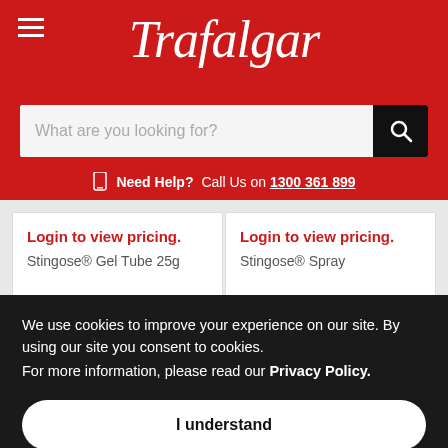[Figure (logo): Trafalgar logo in white italic script on red background header]
What are you looking for?
Need Help?  Call Us on 1300 361 899
Login to view pricing.
Stingose® Gel Tube 25g
Login to view pricing.
Stingose® Spray
We use cookies to improve your experience on our site. By using our site you consent to cookies.
For more information, please read our Privacy Policy.
I understand